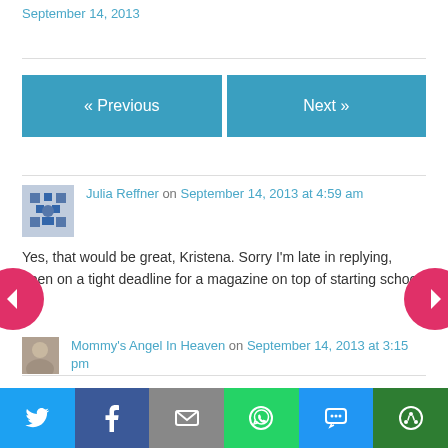September 14, 2013
[Figure (other): Previous and Next navigation buttons in blue]
Julia Reffner on September 14, 2013 at 4:59 am
Yes, that would be great, Kristena. Sorry I'm late in replying, been on a tight deadline for a magazine on top of starting school.
Mommy's Angel In Heaven on September 14, 2013 at 3:15 pm
Julia, you are fine. Thank you for coming by to read what I wrote today.
[Figure (infographic): Social share bar with Twitter, Facebook, email, WhatsApp, SMS, and more icons]